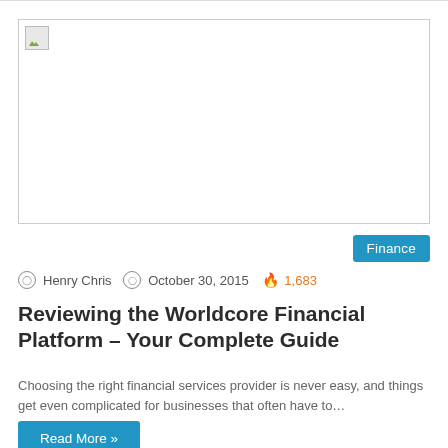[Figure (photo): Broken image placeholder with small landscape icon in top-left corner, wide rectangular image area]
Finance
Henry Chris  October 30, 2015  1,683
Reviewing the Worldcore Financial Platform – Your Complete Guide
Choosing the right financial services provider is never easy, and things get even complicated for businesses that often have to…
Read More »